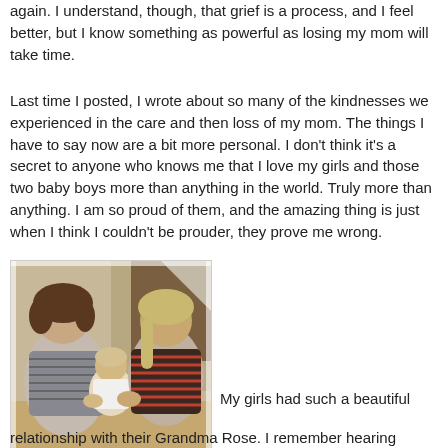again. I understand, though, that grief is a process, and I feel better, but I know something as powerful as losing my mom will take time.
Last time I posted, I wrote about so many of the kindnesses we experienced in the care and then loss of my mom. The things I have to say now are a bit more personal. I don't think it's a secret to anyone who knows me that I love my girls and those two baby boys more than anything in the world. Truly more than anything. I am so proud of them, and the amazing thing is just when I think I couldn't be prouder, they prove me wrong.
[Figure (photo): A vintage photograph showing a woman with curly dark hair sitting with two young girls on what appears to be stairs or a ledge indoors.]
My girls had such a beautiful relationship with their Grandma Rose. I remember hearing